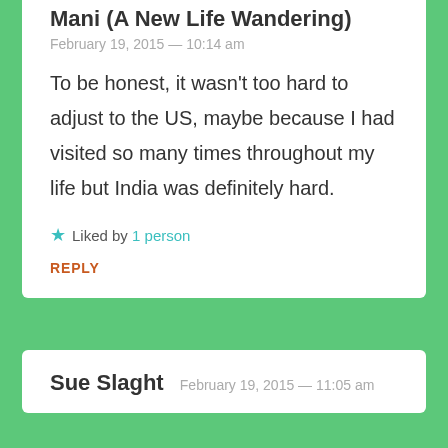Mani (A New Life Wandering)
February 19, 2015 — 10:14 am
To be honest, it wasn't too hard to adjust to the US, maybe because I had visited so many times throughout my life but India was definitely hard.
★ Liked by 1 person
REPLY
Sue Slaght
February 19, 2015 — 11:05 am